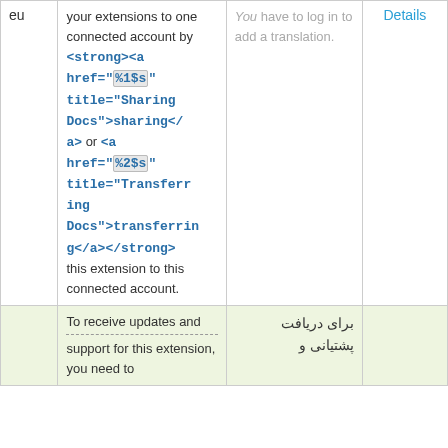|  | Source | Translation |  |
| --- | --- | --- | --- |
| eu | <strong><a href="%1$s" title="Sharing Docs">sharing</a> or <a href="%2$s" title="Transferring Docs">transferring</a></strong> this extension to this connected account. | You have to log in to add a translation. | Details |
|  | To receive updates and
---------- 
support for this extension, you need to | برای دریافت پشتیانی و |  |